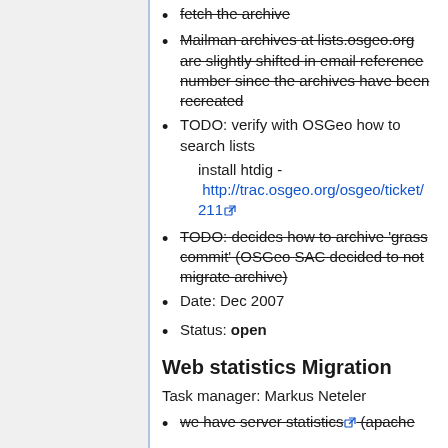fetch the archive (strikethrough)
Mailman archives at lists.osgeo.org are slightly shifted in email reference number since the archives have been recreated (strikethrough)
TODO: verify with OSGeo how to search lists
install htdig - http://trac.osgeo.org/osgeo/ticket/211
TODO: decides how to archive 'grass commit' (OSGeo SAC decided to not migrate archive) (strikethrough)
Date: Dec 2007
Status: open
Web statistics Migration
Task manager: Markus Neteler
we have server statistics (apache (strikethrough)